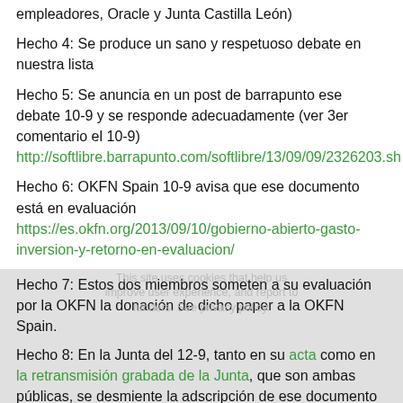empleadores, Oracle y Junta Castilla León)
Hecho 4: Se produce un sano y respetuoso debate en nuestra lista
Hecho 5: Se anuncia en un post de barrapunto ese debate 10-9 y se responde adecuadamente (ver 3er comentario el 10-9) http://softlibre.barrapunto.com/softlibre/13/09/09/2326203.sh
Hecho 6: OKFN Spain 10-9 avisa que ese documento está en evaluación https://es.okfn.org/2013/09/10/gobierno-abierto-gasto-inversion-y-retorno-en-evaluacion/
Hecho 7: Estos dos miembros someten a su evaluación por la OKFN la donación de dicho paper a la OKFN Spain.
Hecho 8: En la Junta del 12-9, tanto en su acta como en la retransmisión grabada de la Junta, que son ambas públicas, se desmiente la adscripción de ese documento a OKFN Spain, y se anuncia la apertura de cuatro debates para investigar sobre las lineas de ese documento.
Esto me hace pensar que somos relevantes por cuanto nos